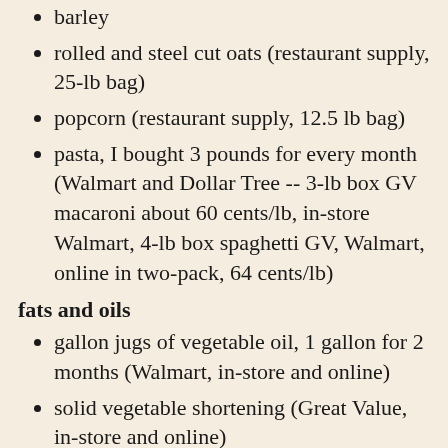barley
rolled and steel cut oats (restaurant supply, 25-lb bag)
popcorn (restaurant supply, 12.5 lb bag)
pasta, I bought 3 pounds for every month (Walmart and Dollar Tree -- 3-lb box GV macaroni about 60 cents/lb, in-store Walmart, 4-lb box spaghetti GV, Walmart, online in two-pack, 64 cents/lb)
fats and oils
gallon jugs of vegetable oil, 1 gallon for 2 months (Walmart, in-store and online)
solid vegetable shortening (Great Value, in-store and online)
extras
granulated sugar (Although I buy 50-lb